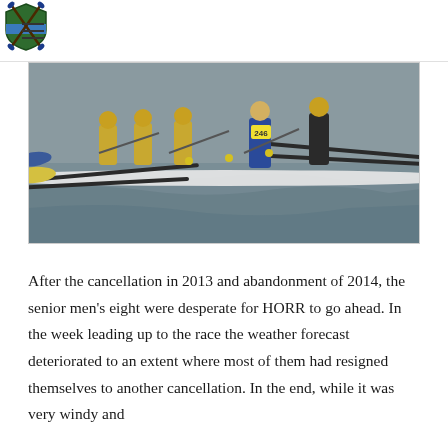[Navigation header with hamburger menu and rowing club logo]
[Figure (photo): Rowing crew on water, multiple athletes in a racing shell with oars extended, one athlete wearing a blue life vest with number 246, on a grey river]
After the cancellation in 2013 and abandonment of 2014, the senior men's eight were desperate for HORR to go ahead. In the week leading up to the race the weather forecast deteriorated to an extent where most of them had resigned themselves to another cancellation. In the end, while it was very windy and